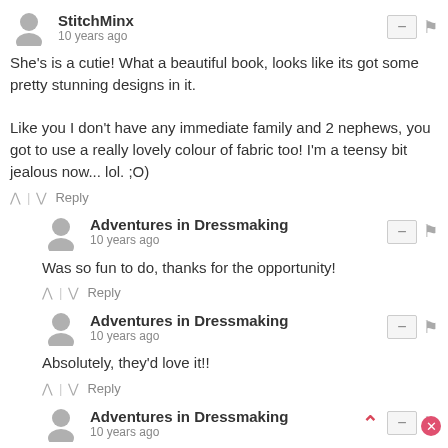StitchMinx
10 years ago
She's is a cutie! What a beautiful book, looks like its got some pretty stunning designs in it.

Like you I don't have any immediate family and 2 nephews, you got to use a really lovely colour of fabric too! I'm a teensy bit jealous now... lol. ;O)
Adventures in Dressmaking
10 years ago
Was so fun to do, thanks for the opportunity!
Adventures in Dressmaking
10 years ago
Absolutely, they'd love it!!
Adventures in Dressmaking
10 years ago